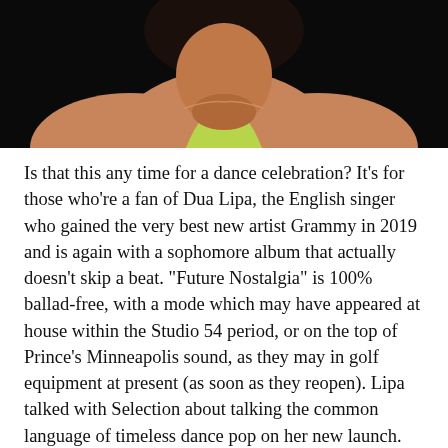[Figure (photo): Close-up photo of a person (Dua Lipa) wearing a green/yellow halter top, shot against a black background, cropped to show shoulders and neck area.]
Is that this any time for a dance celebration? It’s for those who’re a fan of Dua Lipa, the English singer who gained the very best new artist Grammy in 2019 and is again with a sophomore album that actually doesn’t skip a beat. “Future Nostalgia” is 100% ballad-free, with a mode which may have appeared at house within the Studio 54 period, or on the top of Prince’s Minneapolis sound, as they may in golf equipment at present (as soon as they reopen). Lipa talked with Selection about talking the common language of timeless dance pop on her new launch.
The album is so upbeat, it has the promise to make lots of people a minimum of momentarily very pleased — however you’ve admitted you had some